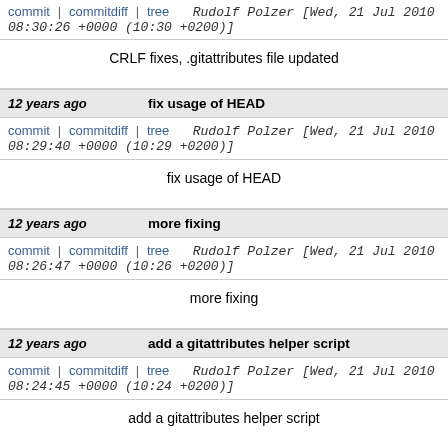commit | commitdiff | tree   Rudolf Polzer [Wed, 21 Jul 2010 08:30:26 +0000 (10:30 +0200)]
CRLF fixes, .gitattributes file updated
12 years ago   fix usage of HEAD
commit | commitdiff | tree   Rudolf Polzer [Wed, 21 Jul 2010 08:29:40 +0000 (10:29 +0200)]
fix usage of HEAD
12 years ago   more fixing
commit | commitdiff | tree   Rudolf Polzer [Wed, 21 Jul 2010 08:26:47 +0000 (10:26 +0200)]
more fixing
12 years ago   add a gitattributes helper script
commit | commitdiff | tree   Rudolf Polzer [Wed, 21 Jul 2010 08:24:45 +0000 (10:24 +0200)]
add a gitattributes helper script
12 years ago   gitattributes: add a default crlf value